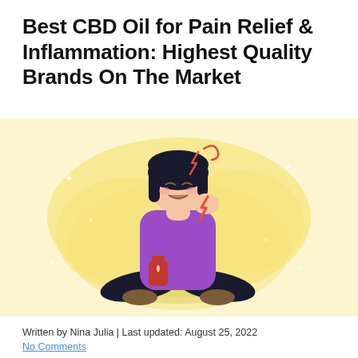Best CBD Oil for Pain Relief & Inflammation: Highest Quality Brands On The Market
[Figure (illustration): Illustration of a woman with dark hair wearing a purple sweater, sitting cross-legged on the floor, holding a red CBD oil bottle, grimacing in pain with red lightning bolt pain indicators near her head and jaw, against a yellow blob-shaped background with small decorative star/asterisk shapes scattered around.]
Written by Nina Julia | Last updated: August 25, 2022
No Comments